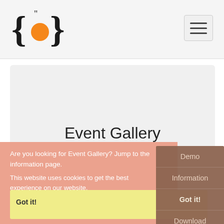[Figure (logo): Joomla/JSON-LD style logo with curly braces and orange circle]
[Figure (other): Hamburger menu icon (three horizontal lines) in a rounded rectangle button]
Event Gallery
Are you looking for Event Gallery? Jump to the information page.
This website uses cookies to get the best experience on our website.
Learn more
Demo
Information
Got it!
Download
Buy